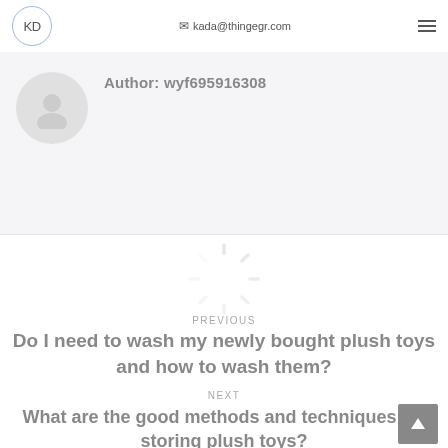KD  kada@thingegr.com
Author: wyf695916308
[Figure (illustration): Loading spinner icon with radiating lines in light gray]
PREVIOUS
Do I need to wash my newly bought plush toys and how to wash them?
NEXT
What are the good methods and techniques for storing plush toys?